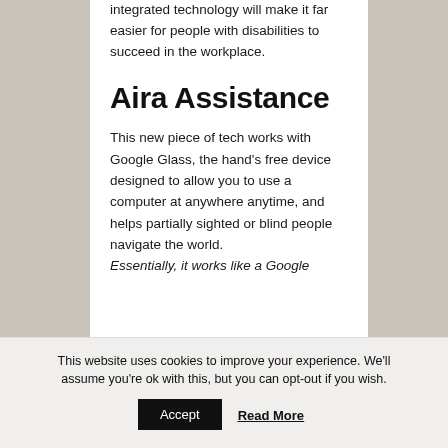integrated technology will make it far easier for people with disabilities to succeed in the workplace.
Aira Assistance
This new piece of tech works with Google Glass, the hand's free device designed to allow you to use a computer at anywhere anytime, and helps partially sighted or blind people navigate the world.
Essentially, it works like a Google
This website uses cookies to improve your experience. We'll assume you're ok with this, but you can opt-out if you wish.
Accept
Read More